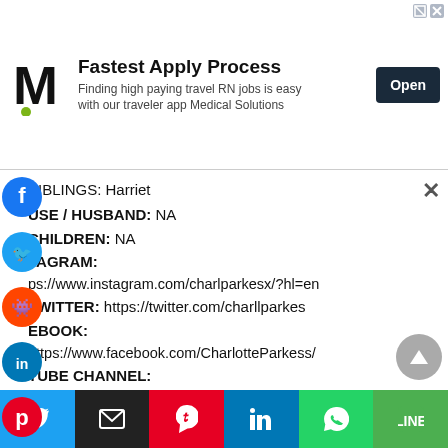[Figure (infographic): Advertisement banner: M logo (Medical Solutions), 'Fastest Apply Process' headline, 'Finding high paying travel RN jobs is easy with our traveler app Medical Solutions', Open button]
SIBLINGS: Harriet
SPOUSE / HUSBAND: NA
CHILDREN: NA
INSTAGRAM:
https://www.instagram.com/charlparkesx/?hl=en
TWITTER:  https://twitter.com/charllparkes
FACEBOOK:
https://www.facebook.com/CharlotteParkess/
YOUTUBE CHANNEL:
https://www.youtube.com/channel/UCsGG_ZH-c_jNo2s-U_-4JEw
[Figure (infographic): Social sharing bar at bottom with Twitter, Email, Pinterest, LinkedIn, WhatsApp, LINE buttons]